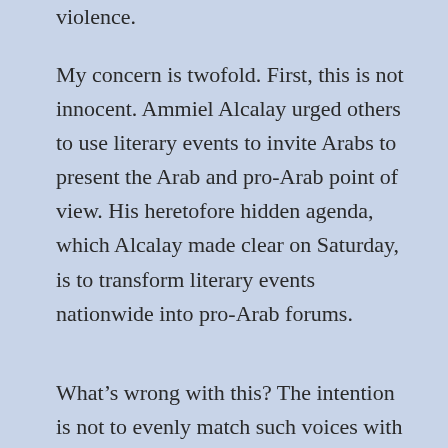violence.
My concern is twofold. First, this is not innocent. Ammiel Alcalay urged others to use literary events to invite Arabs to present the Arab and pro-Arab point of view. His heretofore hidden agenda, which Alcalay made clear on Saturday, is to transform literary events nationwide into pro-Arab forums.
What’s wrong with this? The intention is not to evenly match such voices with Israeli terror victims, Zionists or Zionist poets. Indeed, at several poetry events, Arab and pro-Arab comments and poems (like those of Amiri Baraka and Taha at